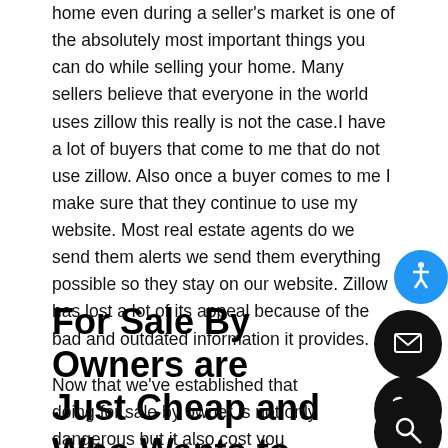home even during a seller's market is one of the absolutely most important things you can do while selling your home. Many sellers believe that everyone in the world uses zillow this really is not the case.I have a lot of buyers that come to me that do not use zillow. Also once a buyer comes to me I make sure that they continue to use my website. Most real estate agents do we send them alerts we send them everything possible so they stay on our website. Zillow has lost a lot of its appeal because of the bad and outdated information it provides.
For Sale By Owners are Just Cheap and Who Wants to Deal With That?
Now that we've established that doing for sale by owner is not only dangerous but it also cost you money in the long run because you're not getting a full sample of how much